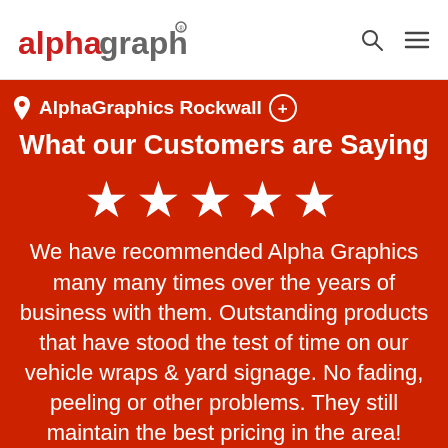[Figure (logo): AlphaGraphics logo with red 'alpha' and gray 'graphics' text]
AlphaGraphics Rockwall
What our Customers are Saying
[Figure (illustration): Five white star rating icons]
We have recommended Alpha Graphics many many times over the years of business with them. Outstanding products that have stood the test of time on our vehicle wraps & yard signage. No fading, peeling or other problems. They still maintain the best pricing in the area!